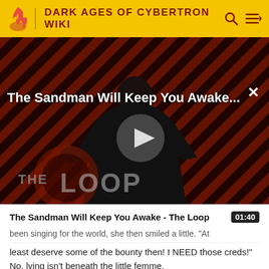DARK AGES OF CYBERTRON WIKI
[Figure (screenshot): Video thumbnail showing a dark figure in a black cloak against a diagonal red and black striped background. Overlaid text reads 'The Sandman Will Keep You Awake...' with a play button in the center. 'THE LOOP' watermark visible at lower left. A close (X) button at upper right.]
The Sandman Will Keep You Awake - The Loop
been singing for the world, she then smiled a little. "At least deserve some of the bounty then! I NEED those creds!" No, lying isn't beneath the little femme.